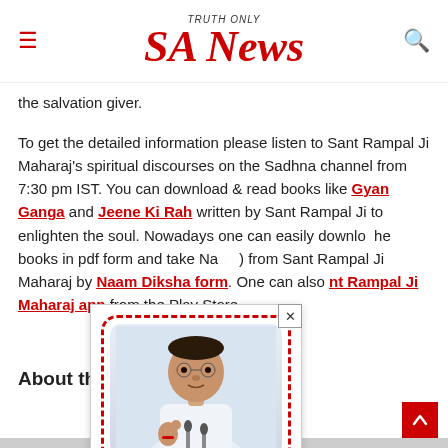SA News — TRUTH ONLY
the salvation giver.
To get the detailed information please listen to Sant Rampal Ji Maharaj's spiritual discourses on the Sadhna channel from 7:30 pm IST. You can download & read books like Gyan Ganga and Jeene Ki Rah written by Sant Rampal Ji to enlighten the soul. Nowadays one can easily download the books in pdf form and take Naam (initiation) from Sant Rampal Ji Maharaj by filling the Naam Diksha form. One can also download the Sant Rampal Ji Maharaj app from the Play Store.
[Figure (photo): Popup showing a photo of Sant Rampal Ji Maharaj in a decorative red dashed border frame, with text '8th September 1951' below.]
About the author